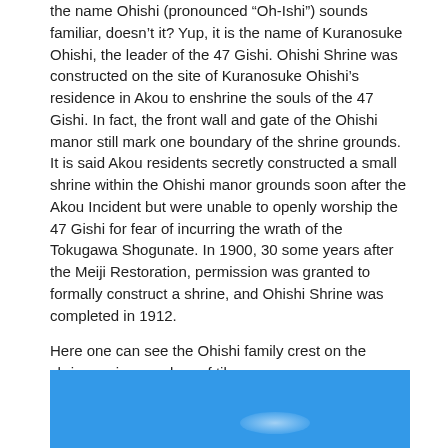the name Ohishi (pronounced “Oh-Ishi”) sounds familiar, doesn’t it? Yup, it is the name of Kuranosuke Ohishi, the leader of the 47 Gishi. Ohishi Shrine was constructed on the site of Kuranosuke Ohishi’s residence in Akou to enshrine the souls of the 47 Gishi. In fact, the front wall and gate of the Ohishi manor still mark one boundary of the shrine grounds. It is said Akou residents secretly constructed a small shrine within the Ohishi manor grounds soon after the Akou Incident but were unable to openly worship the 47 Gishi for fear of incurring the wrath of the Tokugawa Shogunate. In 1900, 30 some years after the Meiji Restoration, permission was granted to formally construct a shrine, and Ohishi Shrine was completed in 1912.
Here one can see the Ohishi family crest on the shrine main pagoda roof tiles.
[Figure (photo): A photograph showing a blue sky background with a faint white glowing shape visible, likely a roof tile detail of Ohishi Shrine.]